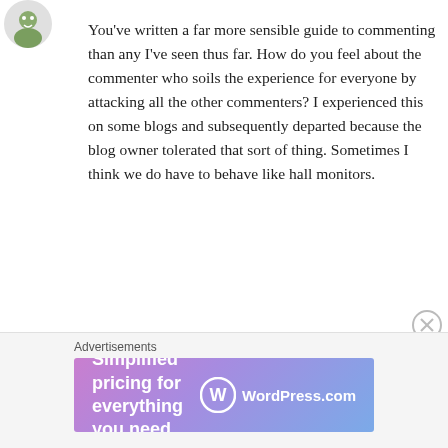[Figure (photo): Small avatar/profile image in top-left corner]
You've written a far more sensible guide to commenting than any I've seen thus far. How do you feel about the commenter who soils the experience for everyone by attacking all the other commenters? I experienced this on some blogs and subsequently departed because the blog owner tolerated that sort of thing. Sometimes I think we do have to behave like hall monitors.
★ Like
↩ Reply
Advertisements
[Figure (screenshot): WordPress.com advertisement banner: 'Simplified pricing for everything you need.' with WordPress.com logo on gradient purple-blue background]